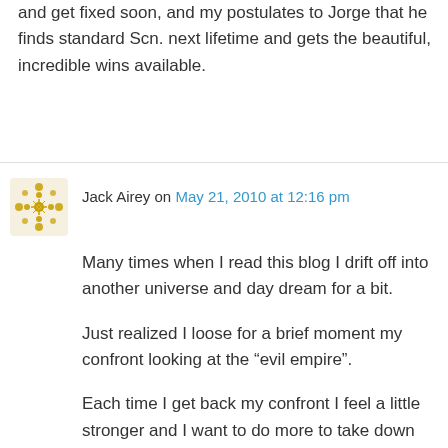and get fixed soon, and my postulates to Jorge that he finds standard Scn. next lifetime and gets the beautiful, incredible wins available.
Jack Airey on May 21, 2010 at 12:16 pm
Many times when I read this blog I drift off into another universe and day dream for a bit.
Just realized I loose for a brief moment my confront looking at the “evil empire”.
Each time I get back my confront I feel a little stronger and I want to do more to take down this SP bullshit.
Enough is enough